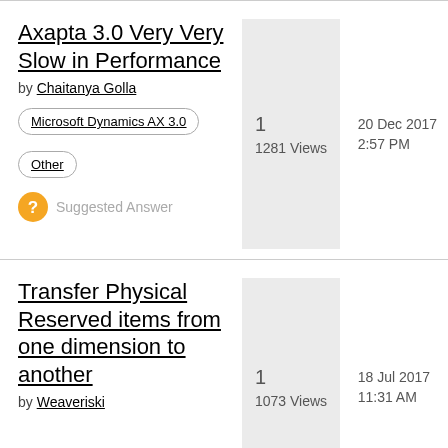Axapta 3.0 Very Very Slow in Performance
by Chaitanya Golla
Microsoft Dynamics AX 3.0
Other
Suggested Answer
1
1281 Views
20 Dec 2017
2:57 PM
Transfer Physical Reserved items from one dimension to another
by Weaveriski
1
1073 Views
18 Jul 2017
11:31 AM